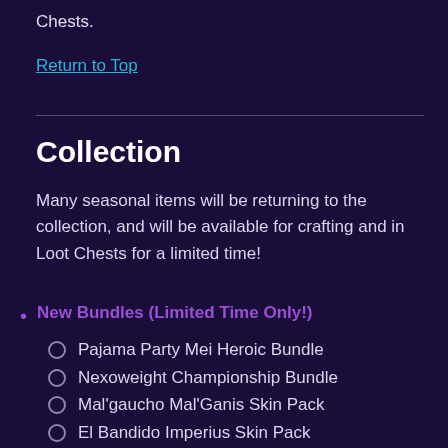Chests.
Return to Top
Collection
Many seasonal items will be returning to the collection, and will be available for crafting and in Loot Chests for a limited time!
New Bundles (Limited Time Only!)
Pajama Party Mei Heroic Bundle
Nexoweight Championship Bundle
Mal'gaucho Mal'Ganis Skin Pack
El Bandido Imperius Skin Pack
Gata de Batalla Li Li Skin Pack